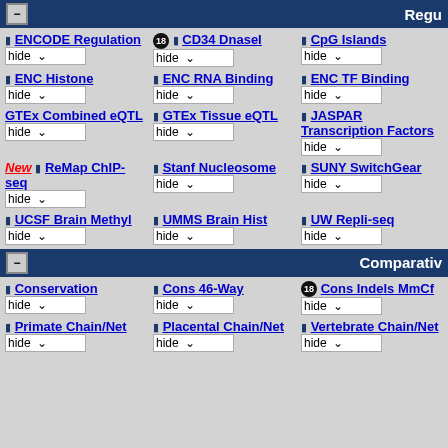- Regu
ENCODE Regulation hide
18 CD34 DnaseI hide
CpG Islands hide
ENC Histone hide
ENC RNA Binding hide
ENC TF Binding hide
GTEx Combined eQTL hide
GTEx Tissue eQTL hide
JASPAR Transcription Factors hide
New ReMap ChIP-seq hide
Stanf Nucleosome hide
SUNY SwitchGear hide
UCSF Brain Methyl hide
UMMS Brain Hist hide
UW Repli-seq hide
- Comparativ
Conservation hide
Cons 46-Way hide
18 Cons Indels MmCf hide
Primate Chain/Net hide
Placental Chain/Net hide
Vertebrate Chain/Net hide